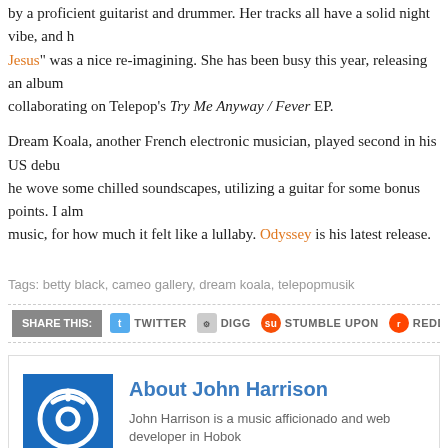by a proficient guitarist and drummer. Her tracks all have a solid night vibe, and h Jesus" was a nice re-imagining. She has been busy this year, releasing an album collaborating on Telepop's Try Me Anyway / Fever EP.
Dream Koala, another French electronic musician, played second in his US debu he wove some chilled soundscapes, utilizing a guitar for some bonus points. I alm music, for how much it felt like a lullaby. Odyssey is his latest release.
Tags: betty black, cameo gallery, dream koala, telepopmusik
SHARE THIS: TWITTER DIGG STUMBLE UPON REDDIT DELI
About John Harrison
John Harrison is a music afficionado and web developer in Hobok
Vie
LEAVE A COMMENT